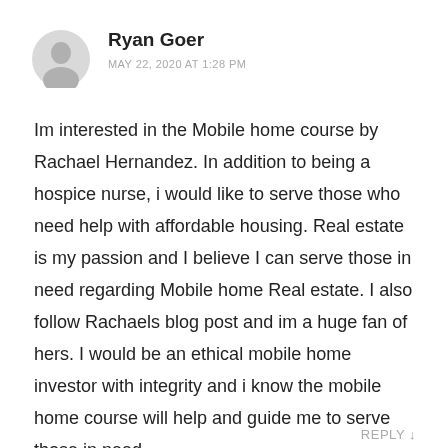[Figure (illustration): Generic user avatar icon — grey silhouette of a person's head and shoulders on a light grey circular background]
Ryan Goer
MAY 22, 2020 AT 1:28 PM
Im interested in the Mobile home course by Rachael Hernandez. In addition to being a hospice nurse, i would like to serve those who need help with affordable housing. Real estate is my passion and I believe I can serve those in need regarding Mobile home Real estate. I also follow Rachaels blog post and im a huge fan of hers. I would be an ethical mobile home investor with integrity and i know the mobile home course will help and guide me to serve those in need.
REPLY ↓